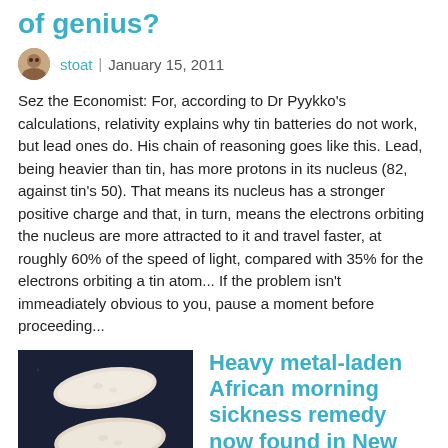of genius?
stoat  |  January 15, 2011
Sez the Economist: For, according to Dr Pyykko's calculations, relativity explains why tin batteries do not work, but lead ones do. His chain of reasoning goes like this. Lead, being heavier than tin, has more protons in its nucleus (82, against tin's 50). That means its nucleus has a stronger positive charge and that, in turn, means the electrons orbiting the nucleus are more attracted to it and travel faster, at roughly 60% of the speed of light, compared with 35% for the electrons orbiting a tin atom... If the problem isn't immeadiately obvious to you, pause a moment before proceeding...
[Figure (photo): Two white oval pill-shaped tablets on a dark blue/black background]
Heavy metal-laden African morning sickness remedy now found in New York City